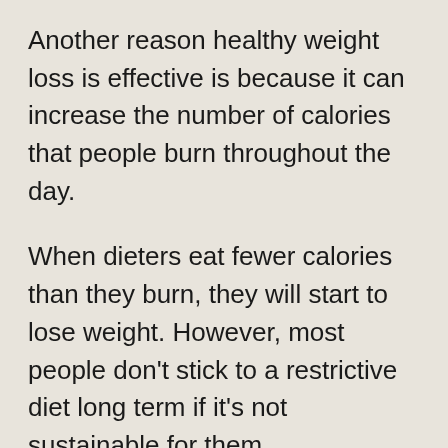Another reason healthy weight loss is effective is because it can increase the number of calories that people burn throughout the day.
When dieters eat fewer calories than they burn, they will start to lose weight. However, most people don't stick to a restrictive diet long term if it's not sustainable for them.
Weight loss also has psychological effects on people. When dieters see positive results (e.g., they lose weight and their body changes), they are more likely to remain motivated and continue working towards their goal of a